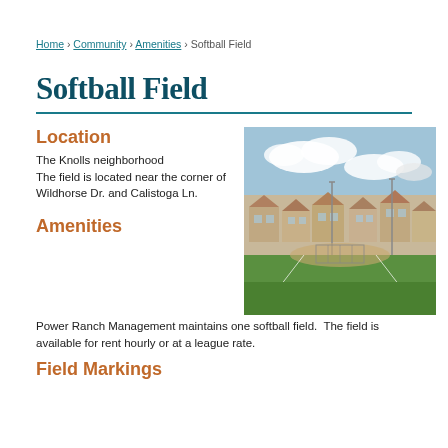Home › Community › Amenities › Softball Field
Softball Field
Location
The Knolls neighborhood
The field is located near the corner of Wildhorse Dr. and Calistoga Ln.
[Figure (photo): Outdoor softball field with green grass, field markings, and residential houses in the background under a partly cloudy sky.]
Amenities
Power Ranch Management maintains one softball field.  The field is available for rent hourly or at a league rate.
Field Markings